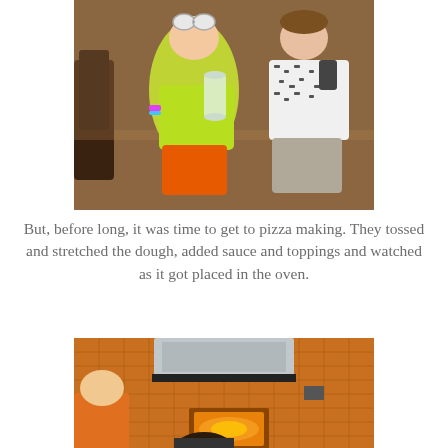[Figure (photo): Two children standing in a restaurant-style setting. The child on the left wears a bright neon green shirt, orange shorts, and round goggles on their head, holding a clear container. The child on the right wears a white and patterned shirt with gray shorts. Wooden chairs and tables are visible in the background.]
But, before long, it was time to get to pizza making. They tossed and stretched the dough, added sauce and toppings and watched as it got placed in the oven.
[Figure (photo): Interior of a pizza restaurant kitchen. A stainless steel hood vent is visible above a brick pizza oven with an orange glow inside. Orange tile walls are in the background. A person in an orange shirt and a child with dark hair are partially visible in the foreground.]